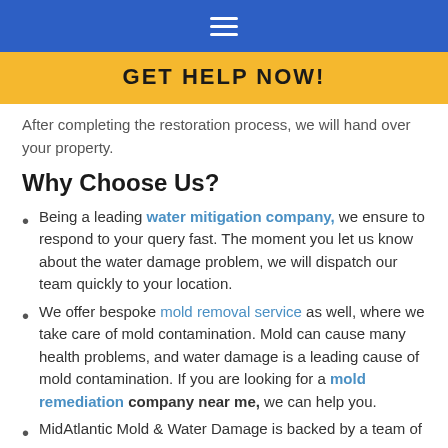Navigation bar with hamburger menu icon
GET HELP NOW!
After completing the restoration process, we will hand over your property.
Why Choose Us?
Being a leading water mitigation company, we ensure to respond to your query fast. The moment you let us know about the water damage problem, we will dispatch our team quickly to your location.
We offer bespoke mold removal service as well, where we take care of mold contamination. Mold can cause many health problems, and water damage is a leading cause of mold contamination. If you are looking for a mold remediation company near me, we can help you.
MidAtlantic Mold & Water Damage is backed by a team of